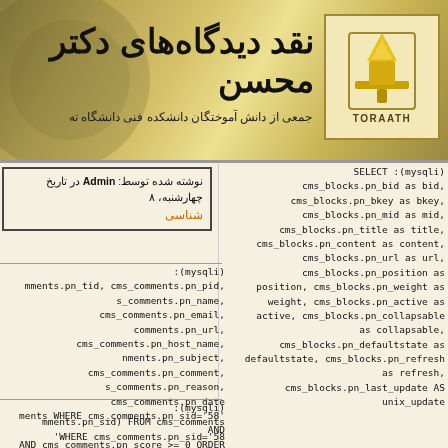نقد دیدگاه های دکتر محسن
جمعی از دانش آموختگان دانشکده فنی دانشگاه ته
[Figure (logo): TORAATH logo with gold torch icon]
نوشته شده توسط: Admin در تاریخ چهارشنبه، ۸
شناسی
SELECT :(mysqli)
cms_blocks.pn_bid as bid,
cms_blocks.pn_bkey as bkey,
cms_blocks.pn_mid as mid,
cms_blocks.pn_title as title,
cms_blocks.pn_content as content,
cms_blocks.pn_url as url,
cms_blocks.pn_position as
position, cms_blocks.pn_weight as
weight, cms_blocks.pn_active as
active, cms_blocks.pn_collapsable
as collapsable,
cms_blocks.pn_defaultstate as
defaultstate, cms_blocks.pn_refresh
as refresh,
cms_blocks.pn_last_update AS
unix_update
:(mysqli)
mments.pn_tid, cms_comments.pn_pid,
s_comments.pn_name, cms_comments.pn_email,
comments.pn_url, cms_comments.pn_host_name,
nments.pn_subject, cms_comments.pn_comment,
s_comments.pn_reason, cms_comments.pn_date
ments WHERE cms_comments.pn_sid='58' AND
AND cms_comments.pn_score >= 0 ORDER BY
cms_comments.pn_date ASC
:(mysqli)
mments.pn_sid) FROM cms_comments
'WHERE cms_comments.pn_sid='58
cms_blocks.pn_last_update AS
unix_update